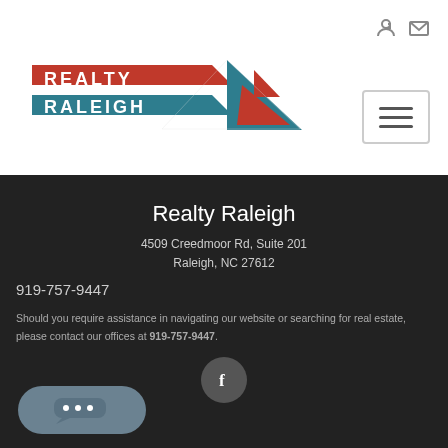[Figure (logo): Realty Raleigh logo with red and teal banner shapes and a stylized triangle/arrow graphic]
[Figure (other): Login and email icons in top right corner]
[Figure (other): Hamburger menu button (three horizontal lines) in a bordered box]
Realty Raleigh
4509 Creedmoor Rd, Suite 201
Raleigh, NC 27612
919-757-9447
Should you require assistance in navigating our website or searching for real estate, please contact our offices at 919-757-9447.
[Figure (other): Facebook icon in a dark circle]
[Figure (other): Chat widget button (speech bubble with ellipsis dots) in a rounded dark pill shape at bottom left]